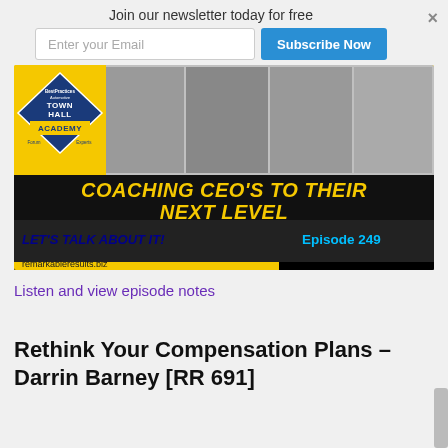Join our newsletter today for free
Enter your Email
Subscribe Now
[Figure (illustration): Podcast episode banner for Remarkable Results Town Hall Academy. Shows four men (Dan Garlock, Scott Brown, Mike Bennett, Carm Capriotto). Text reads: COACHING CEO'S TO THEIR NEXT LEVEL. Dan Garlock - Scott Brown. Mike Bennett - Carm Capriotto, Host. LET'S TALK ABOUT IT! Episode 249. remarkableresults.biz]
Listen and view episode notes
Rethink Your Compensation Plans – Darrin Barney [RR 691]